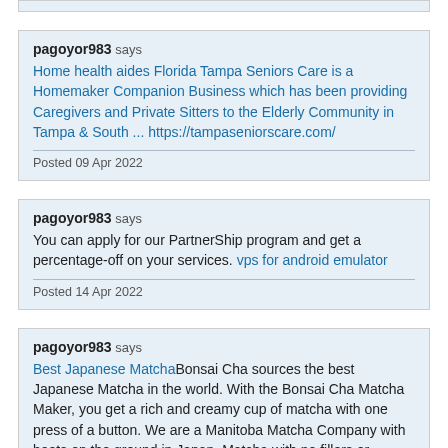pagoyor983 says
Home health aides Florida Tampa Seniors Care is a Homemaker Companion Business which has been providing Caregivers and Private Sitters to the Elderly Community in Tampa & South ... https://tampaseniorscare.com/
Posted 09 Apr 2022
pagoyor983 says
You can apply for our PartnerShip program and get a percentage-off on your services. vps for android emulator
Posted 14 Apr 2022
pagoyor983 says
Best Japanese MatchaBonsai Cha sources the best Japanese Matcha in the world. With the Bonsai Cha Matcha Maker, you get a rich and creamy cup of matcha with one press of a button. We are a Manitoba Matcha Company with boots on the ground in Japan. Matcha with no fillers or additives, pure Matcha. Bringing Matcha to Canada and the USA.https://www.bonsaicha.com/